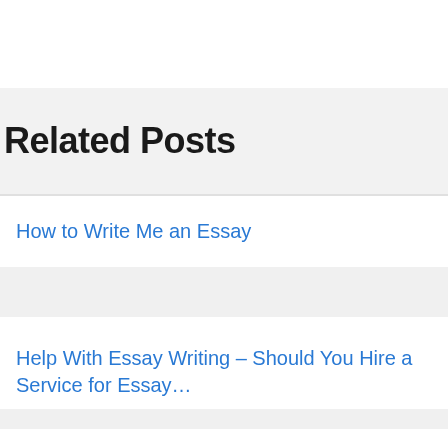Related Posts
How to Write Me an Essay
Help With Essay Writing – Should You Hire a Service for Essay…